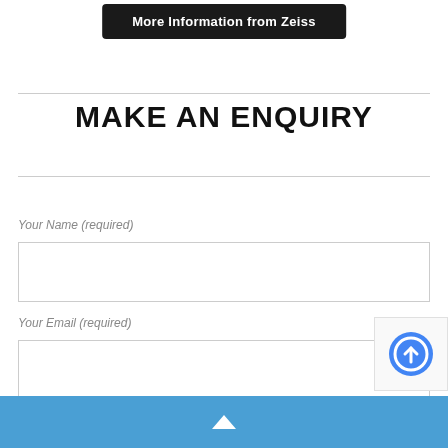[Figure (other): Dark rounded button labeled 'More Information from Zeiss']
MAKE AN ENQUIRY
Your Name (required)
Your Email (required)
[Figure (other): reCAPTCHA badge partially visible in bottom-right corner]
Blue footer bar with upward chevron arrow